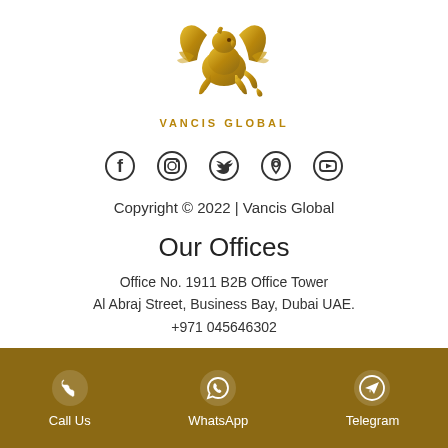[Figure (logo): Vancis Global golden griffin logo with spread wings above company name text 'VANCIS GLOBAL']
[Figure (infographic): Row of social media icons: Facebook, Instagram, Twitter/X, Location pin, YouTube]
Copyright © 2022 | Vancis Global
Our Offices
Office No. 1911 B2B Office Tower
Al Abraj Street, Business Bay, Dubai UAE.
+971 045646302
Porta Vadi T3 Blok Office 13. 2nd floor,
Kagithane, Istanbul Turkey.
+90 542 739 09 02
Call Us   WhatsApp   Telegram